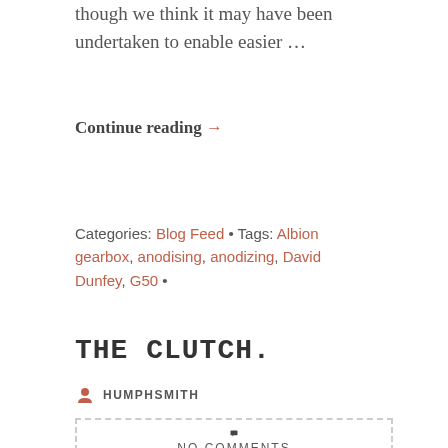though we think it may have been undertaken to enable easier …
Continue reading →
Categories: Blog Feed • Tags: Albion gearbox, anodising, anodizing, David Dunfey, G50 •
THE CLUTCH.
HUMPHSMITH
NO COMMENTS